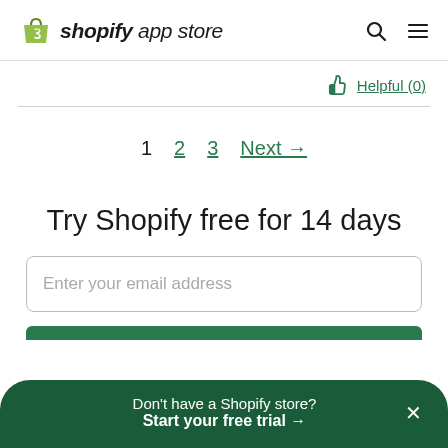shopify app store
Helpful (0)
1  2  3  Next →
Try Shopify free for 14 days
Enter your email address
Don't have a Shopify store? Start your free trial →